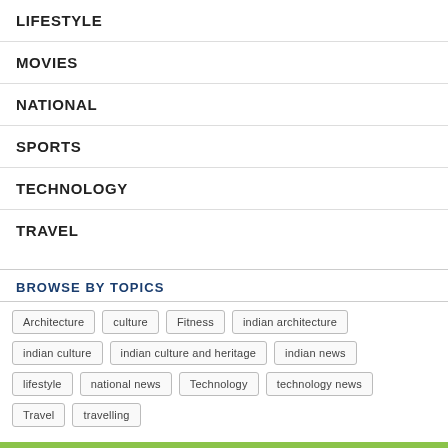LIFESTYLE
MOVIES
NATIONAL
SPORTS
TECHNOLOGY
TRAVEL
BROWSE BY TOPICS
Architecture  culture  Fitness  indian architecture  indian culture  indian culture and heritage  indian news  lifestyle  national news  Technology  technology news  Travel  travelling